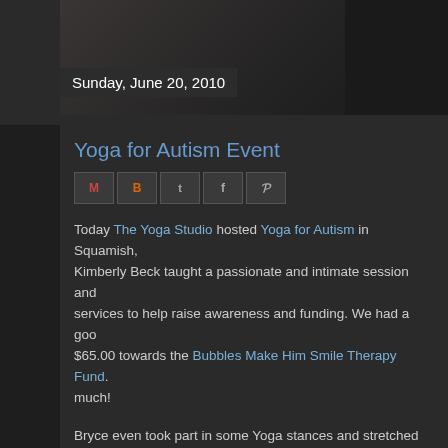Sunday, June 20, 2010
Yoga for Autism Event
[Figure (other): Social sharing icons: Gmail, Blogger, Twitter, Facebook, Pinterest]
Today The Yoga Studio hosted Yoga for Autism in Squamish, Kimberly Beck taught a passionate and intimate session and services to help raise awareness and funding. We had a good $65.00 towards the Bubbles Make Him Smile Therapy Fund. much!
Bryce even took part in some Yoga stances and stretched him